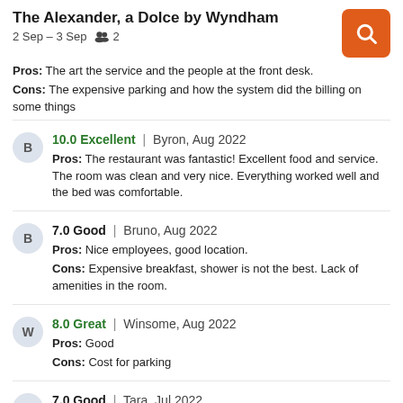The Alexander, a Dolce by Wyndham
2 Sep – 3 Sep   2
Pros:  The art the service and the people at the front desk.
Cons:  The expensive parking and how the system did the billing on some things
10.0 Excellent | Byron, Aug 2022
Pros:  The restaurant was fantastic! Excellent food and service. The room was clean and very nice. Everything worked well and the bed was comfortable.
7.0 Good | Bruno, Aug 2022
Pros:  Nice employees, good location.
Cons:  Expensive breakfast, shower is not the best. Lack of amenities in the room.
8.0 Great | Winsome, Aug 2022
Pros:  Good
Cons:  Cost for parking
7.0 Good | Tara, Jul 2022
Pros:  nice art